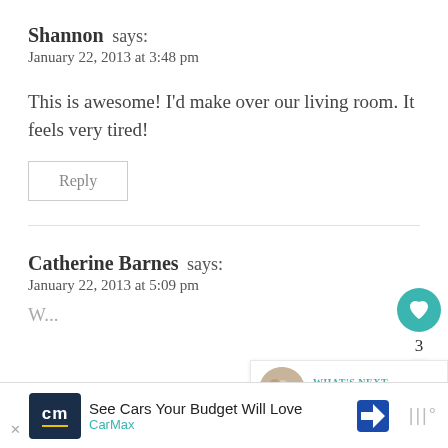Shannon says:
January 22, 2013 at 3:48 pm
This is awesome! I'd make over our living room. It feels very tired!
Reply
Catherine Barnes says:
January 22, 2013 at 5:09 pm
[Figure (other): WHAT'S NEXT widget showing a circular thumbnail image and text 'Giveaway Guide - All...']
[Figure (other): CarMax advertisement banner: 'See Cars Your Budget Will Love' with CarMax logo and navigation icon]